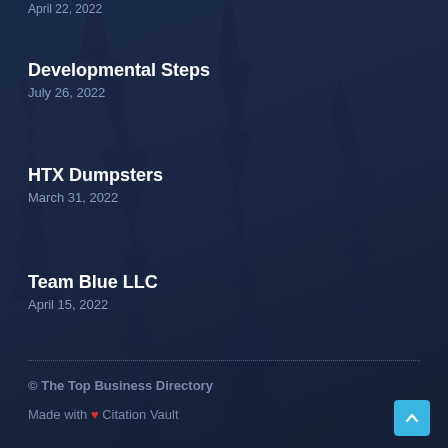Developmental Steps
July 26, 2022
HTX Dumpsters
March 31, 2022
Team Blue LLC
April 15, 2022
© The Top Business Directory
Made with ❤ Citation Vault